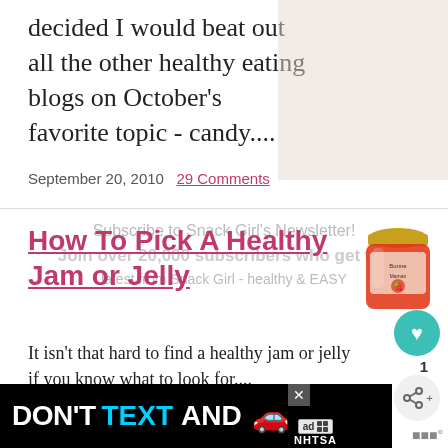decided I would beat out all the other healthy eating blogs on October's favorite topic - candy....
September 20, 2010  29 Comments
How To Pick A Healthy Jam or Jelly
It isn't that hard to find a healthy jam or jelly if you know what to look for....
July 26, 2010  24 Comments
[Figure (other): Advertisement banner: DON'T TEXT AND [car emoji] with NHTSA logo]
[Figure (other): Jam jar product image on article card]